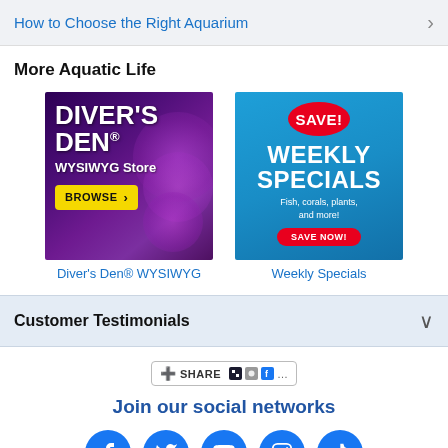How to Choose the Right Aquarium
More Aquatic Life
[Figure (illustration): Diver's Den WYSIWYG Store advertisement with purple coral background and yellow browse button]
Diver's Den® WYSIWYG
[Figure (illustration): Weekly Specials advertisement on blue background with SAVE! badge and SAVE NOW button]
Weekly Specials
Customer Testimonials
[Figure (other): Share widget with social sharing icons]
Join our social networks
[Figure (other): Social network icons: Facebook, Twitter, YouTube, Instagram, TikTok]